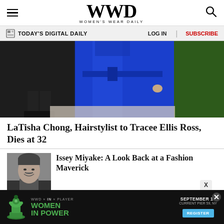WWD — Women's Wear Daily
TODAY'S DIGITAL DAILY   LOG IN   SUBSCRIBE
[Figure (photo): Person wearing a royal blue satin coat with a belt, photographed from neck to knees against a green hedge background]
LaTisha Chong, Hairstylist to Tracee Ellis Ross, Dies at 32
[Figure (photo): Black and white headshot of Issey Miyake smiling]
Issey Miyake: A Look Back at a Fashion Maverick
[Figure (infographic): Advertisement banner: WWD x IN x Player — Women in Power — September 13, Current Pier 59, NY — Register button]